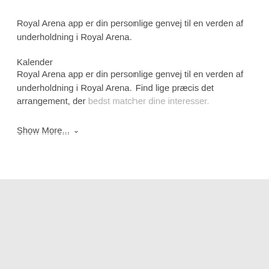Royal Arena app er din personlige genvej til en verden af underholdning i Royal Arena.
Kalender
Royal Arena app er din personlige genvej til en verden af underholdning i Royal Arena. Find lige præcis det arrangement, der bedst matcher dine interesser.
Show More... ∨